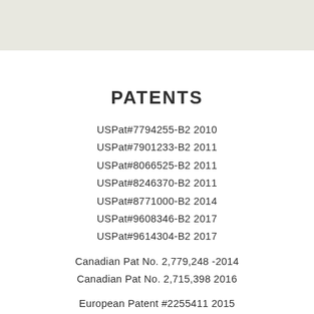PATENTS
USPat#7794255-B2 2010
USPat#7901233-B2 2011
USPat#8066525-B2 2011
USPat#8246370-B2 2011
USPat#8771000-B2 2014
USPat#9608346-B2 2017
USPat#9614304-B2 2017
Canadian Pat No. 2,779,248 -2014
Canadian Pat No. 2,715,398 2016
European Patent #2255411 2015